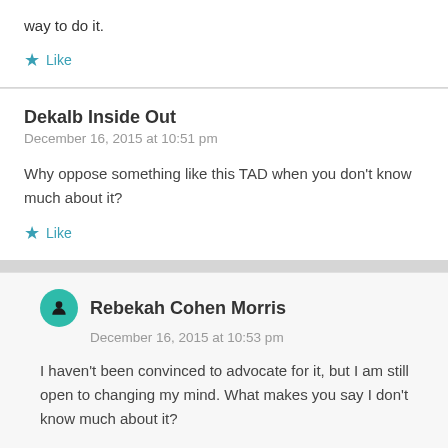way to do it.
Like
Dekalb Inside Out
December 16, 2015 at 10:51 pm
Why oppose something like this TAD when you don’t know much about it?
Like
Rebekah Cohen Morris
December 16, 2015 at 10:53 pm
I haven’t been convinced to advocate for it, but I am still open to changing my mind. What makes you say I don’t know much about it?